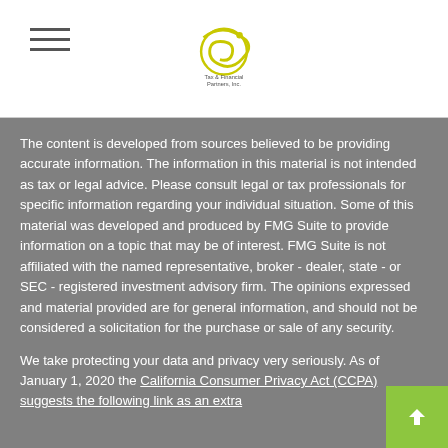Tax & Financial Partners, Inc. — navigation header with logo
The content is developed from sources believed to be providing accurate information. The information in this material is not intended as tax or legal advice. Please consult legal or tax professionals for specific information regarding your individual situation. Some of this material was developed and produced by FMG Suite to provide information on a topic that may be of interest. FMG Suite is not affiliated with the named representative, broker - dealer, state - or SEC - registered investment advisory firm. The opinions expressed and material provided are for general information, and should not be considered a solicitation for the purchase or sale of any security.
We take protecting your data and privacy very seriously. As of January 1, 2020 the California Consumer Privacy Act (CCPA) suggests the following link as an extra